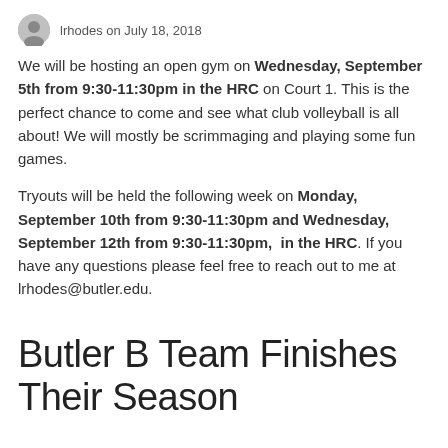lrhodes on July 18, 2018
We will be hosting an open gym on Wednesday, September 5th from 9:30-11:30pm in the HRC on Court 1. This is the perfect chance to come and see what club volleyball is all about! We will mostly be scrimmaging and playing some fun games.
Tryouts will be held the following week on Monday, September 10th from 9:30-11:30pm and Wednesday, September 12th from 9:30-11:30pm,  in the HRC. If you have any questions please feel free to reach out to me at lrhodes@butler.edu.
Butler B Team Finishes Their Season